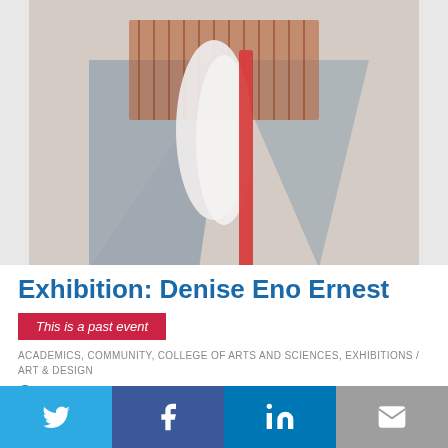[Figure (photo): A three-dimensional abstract sculpture with metallic/copper woven elements, white fabric folds, red beaded/textured strip, forming angular geometric shapes]
Exhibition: Denise Eno Ernest
This is a past event
ACADEMICS, COMMUNITY, COLLEGE OF ARTS AND SCIENCES, EXHIBITIONS / ART & DESIGN
Add to my calendar
Denise Eno Ernest creates highly abstract, dimensional works using several distinct techniques. By either building actual three dimensional shapes that...